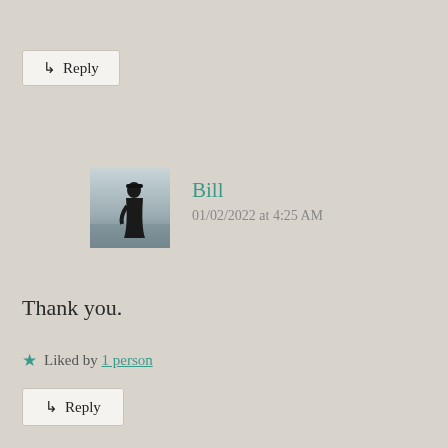↳ Reply
[Figure (photo): Avatar photo of user Bill: silhouetted figure standing by water in a coat and hat, gray sky background]
Bill
01/02/2022 at 4:25 AM
Thank you.
★ Liked by 1 person
↳ Reply
[Figure (photo): Avatar photo of user jillyfunnell: older woman with white/blonde hair, glasses, resting chin on hand]
jillyfunnell
01/02/2022 at 7:44 AM